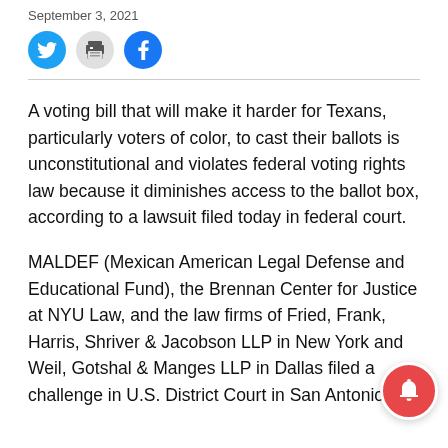September 3, 2021
[Figure (other): Social media share icons: Twitter (blue circle), Print (gray circle), Facebook (blue circle)]
A voting bill that will make it harder for Texans, particularly voters of color, to cast their ballots is unconstitutional and violates federal voting rights law because it diminishes access to the ballot box, according to a lawsuit filed today in federal court.
MALDEF (Mexican American Legal Defense and Educational Fund), the Brennan Center for Justice at NYU Law, and the law firms of Fried, Frank, Harris, Shriver & Jacobson LLP in New York and Weil, Gotshal & Manges LLP in Dallas filed a challenge in U.S. District Court in San Antonio to